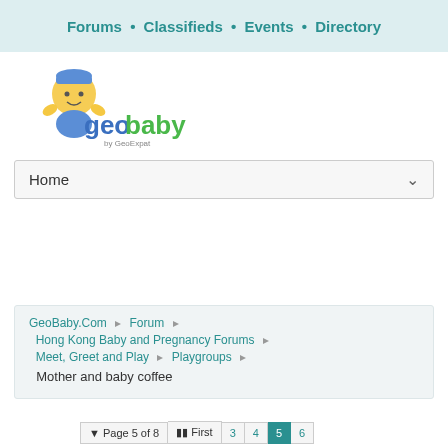Forums • Classifieds • Events • Directory
[Figure (logo): GeoBaby logo with cartoon baby illustration and text 'geobaby by GeoExpat']
Home
GeoBaby.Com ❯ Forum ❯ Hong Kong Baby and Pregnancy Forums ❯ Meet, Greet and Play ❯ Playgroups ❯ Mother and baby coffee
▼ Page 5 of 8  ◄◄ First  3  4  5  6